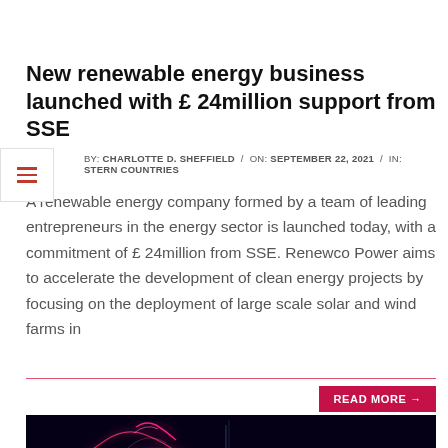New renewable energy business launched with £ 24million support from SSE
BY: CHARLOTTE D. SHEFFIELD / ON: SEPTEMBER 22, 2021 / IN: STERN COUNTRIES
A renewable energy company formed by a team of leading entrepreneurs in the energy sector is launched today, with a commitment of £ 24million from SSE. Renewco Power aims to accelerate the development of clean energy projects by focusing on the deployment of large scale solar and wind farms in
READ MORE →
[Figure (photo): Abstract digital wave visualization with glowing pink, magenta, and blue/cyan wave patterns on a dark background]